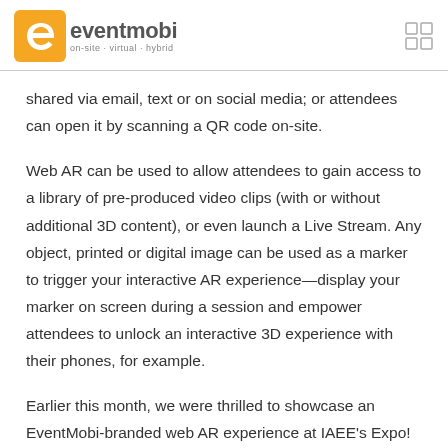eventmobi on-site · virtual · hybrid
shared via email, text or on social media; or attendees can open it by scanning a QR code on-site.
Web AR can be used to allow attendees to gain access to a library of pre-produced video clips (with or without additional 3D content), or even launch a Live Stream. Any object, printed or digital image can be used as a marker to trigger your interactive AR experience—display your marker on screen during a session and empower attendees to unlock an interactive 3D experience with their phones, for example.
Earlier this month, we were thrilled to showcase an EventMobi-branded web AR experience at IAEE's Expo!